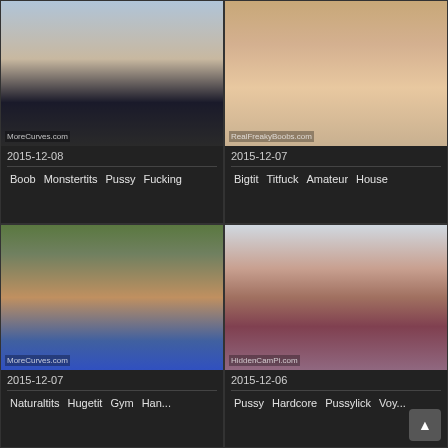[Figure (screenshot): Video thumbnail 1 - outdoor scene]
2015-12-08
Boob   Monstertits   Pussy   Fucking
[Figure (screenshot): Video thumbnail 2 - indoor scene]
2015-12-07
Bigtit   Titfuck   Amateur   House
[Figure (screenshot): Video thumbnail 3 - gym scene]
2015-12-07
Naturaltits   Hugetit   Gym   Handjob
[Figure (screenshot): Video thumbnail 4 - indoor couch scene]
2015-12-06
Pussy   Hardcore   Pussylick   Voyeur